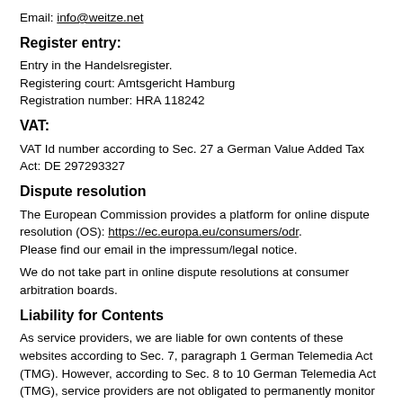Email: info@weitze.net
Register entry:
Entry in the Handelsregister.
Registering court: Amtsgericht Hamburg
Registration number: HRA 118242
VAT:
VAT Id number according to Sec. 27 a German Value Added Tax Act: DE 297293327
Dispute resolution
The European Commission provides a platform for online dispute resolution (OS): https://ec.europa.eu/consumers/odr.
Please find our email in the impressum/legal notice.
We do not take part in online dispute resolutions at consumer arbitration boards.
Liability for Contents
As service providers, we are liable for own contents of these websites according to Sec. 7, paragraph 1 German Telemedia Act (TMG). However, according to Sec. 8 to 10 German Telemedia Act (TMG), service providers are not obligated to permanently monitor submitted or stored information or to search for evidences that indicate illegal activities.